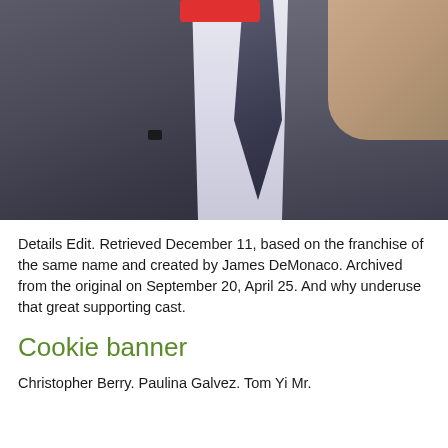[Figure (photo): Photo of a man in a dark gray suit with a dark tie and white shirt. A small lapel microphone is visible. Another person is partially visible on the right side. A red rectangular element appears at the top center.]
Details Edit. Retrieved December 11, based on the franchise of the same name and created by James DeMonaco. Archived from the original on September 20, April 25. And why underuse that great supporting cast.
Cookie banner
Christopher Berry. Paulina Galvez. Tom Yi Mr.